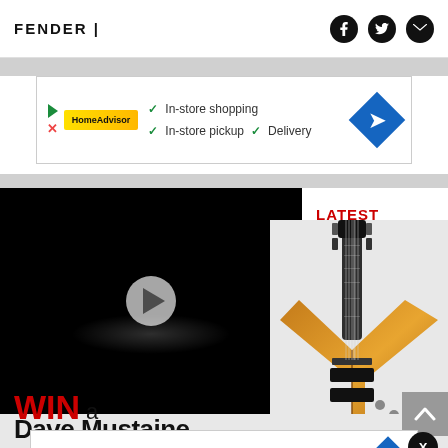FENDER |
[Figure (screenshot): Advertisement banner with checkmarks: In-store shopping, In-store pickup, Delivery, with navigation icon]
[Figure (screenshot): Dark video player with play button showing a guitar pedal on black background]
LATEST
[Figure (photo): Orange/tan Dean Dave Mustaine Flying V electric guitar]
WIN a
Dave Mustaine Fly... Pl...the NEW... Gi...
[Figure (screenshot): Advertisement banner: Shop Cosmetics and Accessories - Walgreens Photo, with navigation icon]